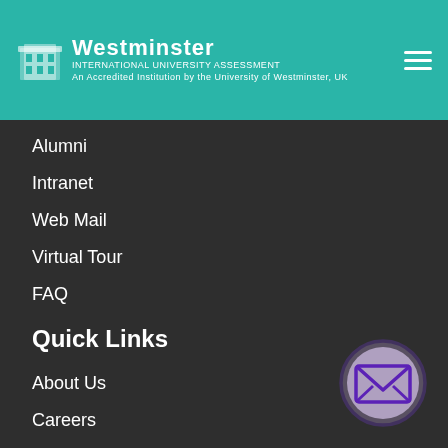Westminster International University Assessment
Alumni
Intranet
Web Mail
Virtual Tour
FAQ
Quick Links
About Us
Careers
Research
[Figure (illustration): Purple envelope/mail icon inside a purple circle on dark background, indicating a contact or email button]